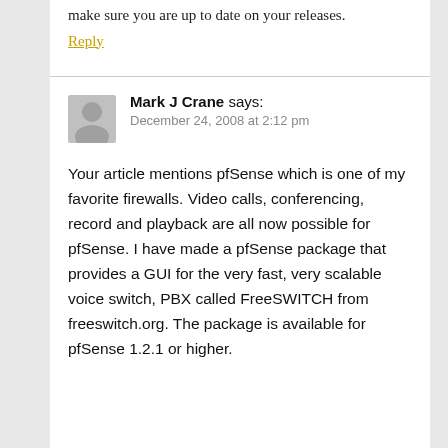make sure you are up to date on your releases.
Reply
Mark J Crane says:
December 24, 2008 at 2:12 pm
Your article mentions pfSense which is one of my favorite firewalls. Video calls, conferencing, record and playback are all now possible for pfSense. I have made a pfSense package that provides a GUI for the very fast, very scalable voice switch, PBX called FreeSWITCH from freeswitch.org. The package is available for pfSense 1.2.1 or higher.